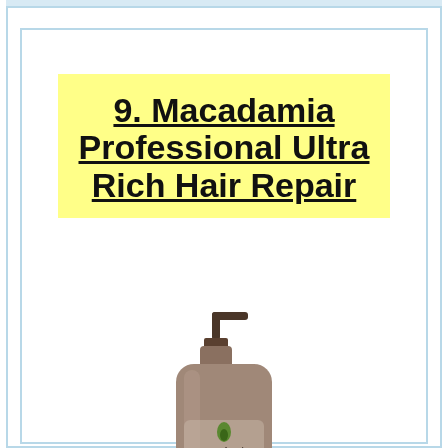9. Macadamia Professional Ultra Rich Hair Repair
[Figure (photo): Macadamia Professional Oil Infused Hair Repair pump bottle, large size, brown/taupe colored bottle with pump dispenser]